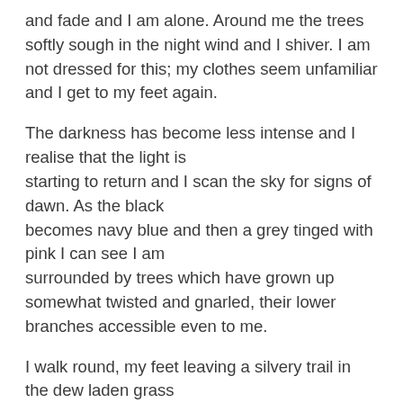and fade and I am alone. Around me the trees softly sough in the night wind and I shiver. I am not dressed for this; my clothes seem unfamiliar and I get to my feet again.
The darkness has become less intense and I realise that the light is starting to return and I scan the sky for signs of dawn. As the black becomes navy blue and then a grey tinged with pink I can see I am surrounded by trees which have grown up somewhat twisted and gnarled, their lower branches accessible even to me.
I walk round, my feet leaving a silvery trail in the dew laden grass and select a tree I think I may be able to climb and find a